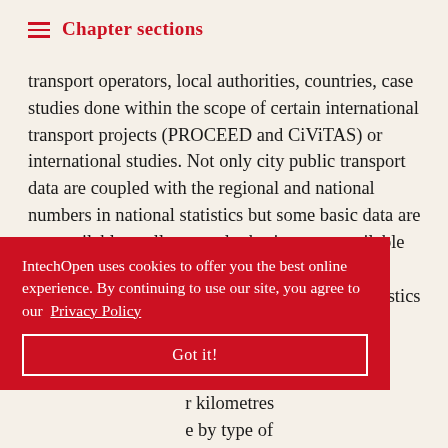Chapter sections
transport operators, local authorities, countries, case studies done within the scope of certain international transport projects (PROCEED and CiViTAS) or international studies. Not only city public transport data are coupled with the regional and national numbers in national statistics but some basic data are not available at all on regular basis or are available for local citizens only. The data collected from various sources suggest that urban transport statistics should be more comprehensive s. Disclosing transport in r kilometres e by type of t of loyees and fleet book assets and age would contribute very
IntechOpen uses cookies to offer you the best online experience. By continuing to use our site, you agree to our Privacy Policy
Got it!